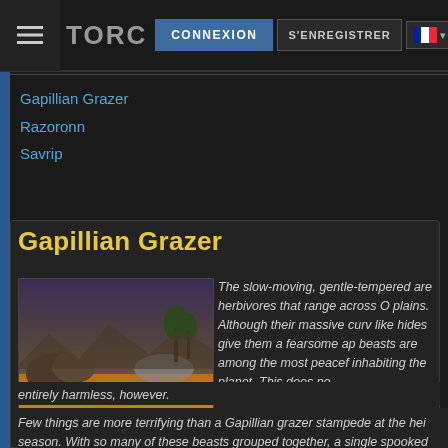TORC  CONNEXION  S'ENREGISTRER
Gapillian Grazer
Razoronn
Savrip
Gapillian Grazer
[Figure (photo): Screenshot of alien plains landscape with orange grasslands, rocky outcroppings, and a dome structure under a purple-grey sky]
The slow-moving, gentle-tempered are herbivores that range across O plains. Although their massive curv like hides give them a fearsome ap beasts are among the most peacef inhabiting the planet. This does no entirely harmless, however.
Few things are more terrifying than a Gapillian grazer stampede at the hei season. With so many of these beasts grouped together, a single spooked